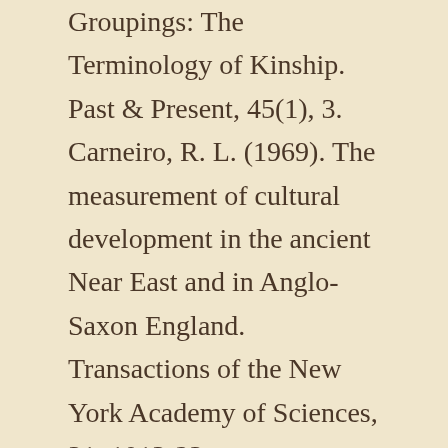Groupings: The Terminology of Kinship. Past & Present, 45(1), 3.
Carneiro, R. L. (1969). The measurement of cultural development in the ancient Near East and in Anglo-Saxon England. Transactions of the New York Academy of Sciences, 31, 1013-23.
Cohn, B. S. (1980). History and anthropology: the state of play. Comparative Studies in Society and History, 22(2), 198-221.
Durrenberger, E. P. (1992). The dynamics of medieval Iceland: political economy &